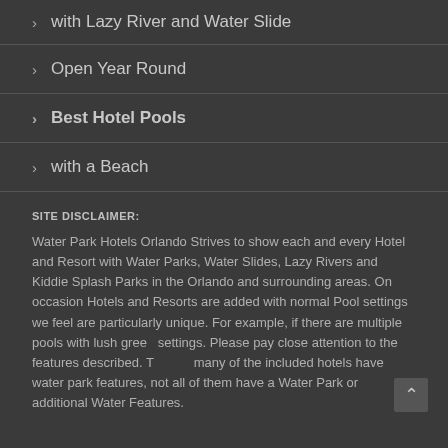> with Lazy River and Water Slide
> Open Year Round
> Best Hotel Pools
> with a Beach
SITE DISCLAIMER:
Water Park Hotels Orlando Strives to show each and every Hotel and Resort with Water Parks, Water Slides, Lazy Rivers and Kiddie Splash Parks in the Orlando and surrounding areas. On occasion Hotels and Resorts are added with normal Pool settings we feel are particularly unique. For example, if there are multiple pools with lush green settings. Please pay close attention to the features described. Though many of the included hotels have water park features, not all of them have a Water Park or additional Water Features.